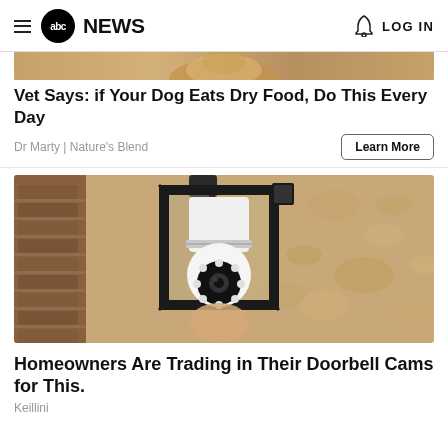abc NEWS  LOG IN
[Figure (photo): Partial cropped image of a dog or pet food advertisement at the top]
Vet Says: if Your Dog Eats Dry Food, Do This Every Day
Dr Marty | Nature's Blend
[Figure (photo): Photo of an outdoor wall lamp/sconce with a white smart security camera bulb installed inside the black iron lantern fixture, mounted on a textured stucco wall]
Homeowners Are Trading in Their Doorbell Cams for This.
Keillini